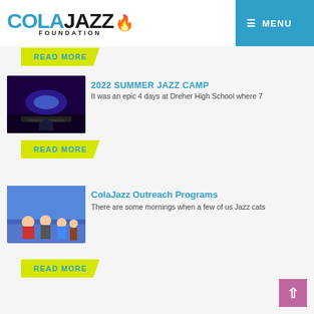COLAJAZZ FOUNDATION — MENU
READ MORE
2022 SUMMER JAZZ CAMP
It was an epic 4 days at Dreher High School where 7
[Figure (photo): Stage with blue/purple lighting at Dreher High School auditorium]
READ MORE
ColaJazz Outreach Programs
There are some mornings when a few of us Jazz cats
[Figure (photo): Children and adults gathered around in a classroom/gym with blue curtain background]
READ MORE